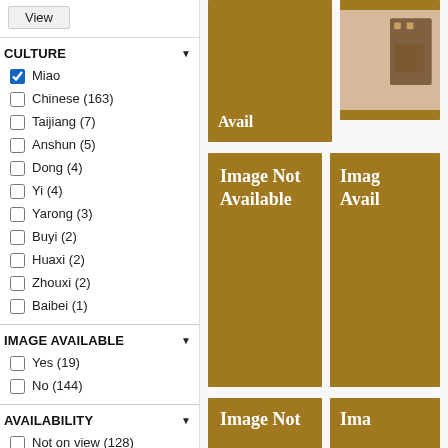View
CULTURE
Miao (checked)
Chinese (163)
Taijiang (7)
Anshun (5)
Dong (4)
Yi (4)
Yarong (3)
Buyi (2)
Huaxi (2)
Zhouxi (2)
Baibei (1)
IMAGE AVAILABLE
Yes (19)
No (144)
AVAILABILITY
Not on view (128)
By appointment, Wurtele Study Center (35)
[Figure (screenshot): Image Not Available placeholder (golden/brown background with white bold text)]
[Figure (photo): Partial photo of an artifact, cropped at right edge]
[Figure (screenshot): Image Not Available placeholder (golden/brown background)]
[Figure (screenshot): Image Not Available placeholder (golden/brown background, partially visible)]
[Figure (screenshot): Image Not Available placeholder (golden/brown background, partial bottom row)]
[Figure (screenshot): Image Not Available placeholder (golden/brown background, partial bottom row, cropped)]